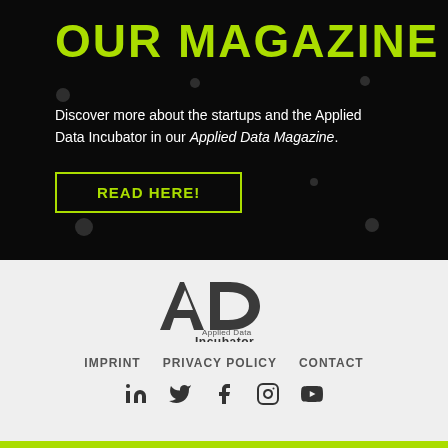OUR MAGAZINE
Discover more about the startups and the Applied Data Incubator in our Applied Data Magazine.
READ HERE!
[Figure (logo): Applied Data Incubator logo with stylized AD monogram and text 'Applied Data Incubator']
IMPRINT   PRIVACY POLICY   CONTACT
[Figure (infographic): Social media icons: LinkedIn, Twitter, Facebook, Instagram, YouTube]